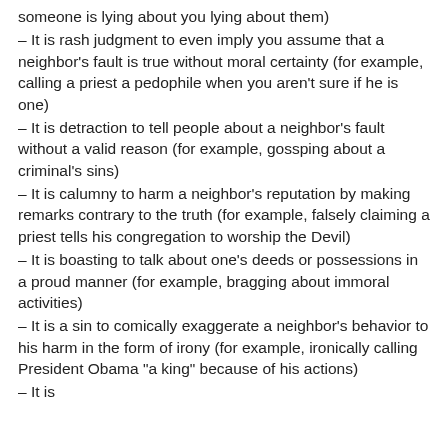someone is lying about you lying about them)
– It is rash judgment to even imply you assume that a neighbor's fault is true without moral certainty (for example, calling a priest a pedophile when you aren't sure if he is one)
– It is detraction to tell people about a neighbor's fault without a valid reason (for example, gossping about a criminal's sins)
– It is calumny to harm a neighbor's reputation by making remarks contrary to the truth (for example, falsely claiming a priest tells his congregation to worship the Devil)
– It is boasting to talk about one's deeds or possessions in a proud manner (for example, bragging about immoral activities)
– It is a sin to comically exaggerate a neighbor's behavior to his harm in the form of irony (for example, ironically calling President Obama "a king" because of his actions)
– It is...